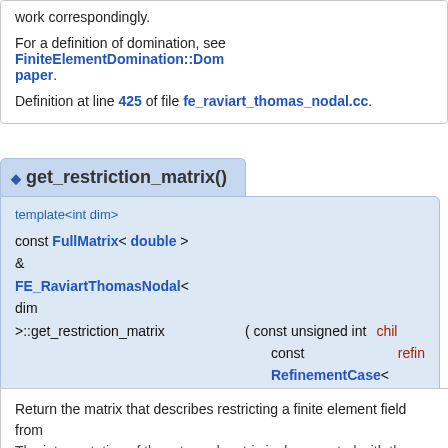work correspondingly.
For a definition of domination, see FiniteElementDomination::Dom paper.
Definition at line 425 of file fe_raviart_thomas_nodal.cc.
◆ get_restriction_matrix()
template<int dim>
const FullMatrix< double > & FE_RaviartThomasNodal< dim >::get_restriction_matrix ( const unsigned int child, const RefinementCase< dim > & refinement_case = RefinementCase< dim >::isotropic_refinement ) const
Return the matrix that describes restricting a finite element field from the given child cell to the parent cell. The interpretation of the returned matrix is documented with the restriction matrix is documented with the restriction matrix is documented with the restriction.